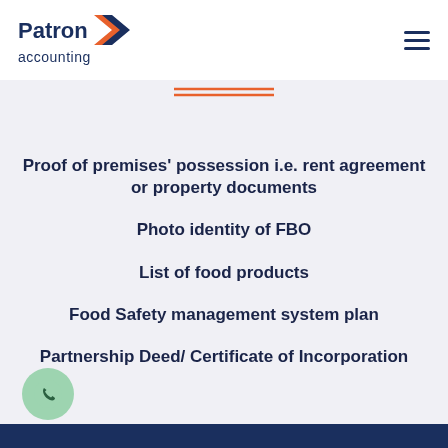Patron accounting
Proof of premises' possession i.e. rent agreement or property documents
Photo identity of FBO
List of food products
Food Safety management system plan
Partnership Deed/ Certificate of Incorporation